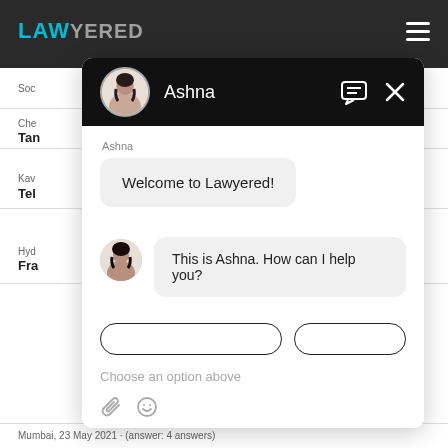[Figure (screenshot): Lawyered website chat popup with assistant named Ashna. Chat shows 'Welcome to Lawyered!' and 'This is Ashna. How can I help you?' messages with input area and 'Choose an option above' placeholder.]